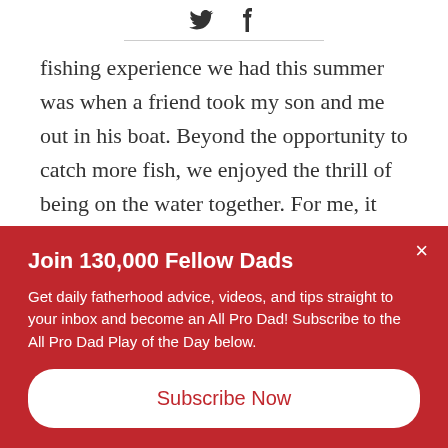[Figure (other): Twitter and Facebook social share icons]
fishing experience we had this summer was when a friend took my son and me out in his boat. Beyond the opportunity to catch more fish, we enjoyed the thrill of being on the water together. For me, it was an eye-opening experience to watch how my mentor fished, and I was grateful to get some hands-on pointers
Join 130,000 Fellow Dads
Get daily fatherhood advice, videos, and tips straight to your inbox and become an All Pro Dad! Subscribe to the All Pro Dad Play of the Day below.
Subscribe Now